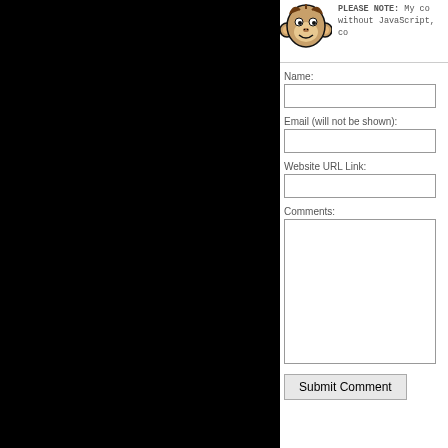[Figure (illustration): Cartoon monkey face icon]
PLEASE NOTE: My co without JavaScript, co
Name:
Email (will not be shown):
Website URL Link:
Comments:
Submit Comment